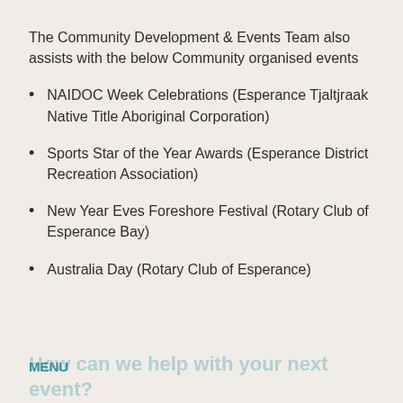The Community Development & Events Team also assists with the below Community organised events
NAIDOC Week Celebrations (Esperance Tjaltjraak Native Title Aboriginal Corporation)
Sports Star of the Year Awards (Esperance District Recreation Association)
New Year Eves Foreshore Festival (Rotary Club of Esperance Bay)
Australia Day (Rotary Club of Esperance)
How can we help with your next event? MENU